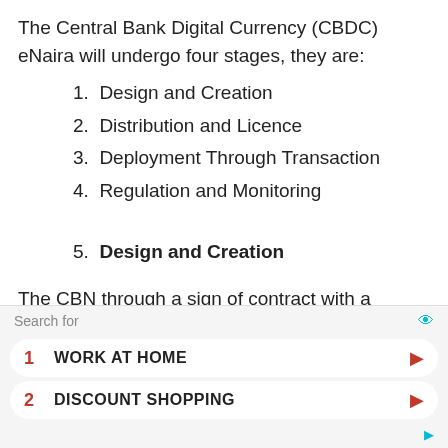The Central Bank Digital Currency (CBDC) eNaira will undergo four stages, they are:
1. Design and Creation
2. Distribution and Licence
3. Deployment Through Transaction
4. Regulation and Monitoring
5. Design and Creation
The CBN through a sign of contract with a